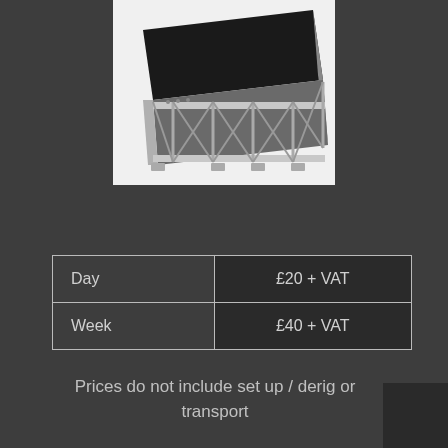[Figure (photo): A modular aluminum staging platform with a black non-slip top surface, shown in perspective view with a metallic truss frame structure underneath.]
|  |  |
| --- | --- |
| Day | £20 + VAT |
| Week | £40 + VAT |
Prices do not include set up / derig or transport